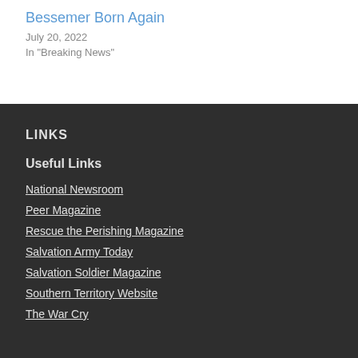Bessemer Born Again
July 20, 2022
In "Breaking News"
LINKS
Useful Links
National Newsroom
Peer Magazine
Rescue the Perishing Magazine
Salvation Army Today
Salvation Soldier Magazine
Southern Territory Website
The War Cry